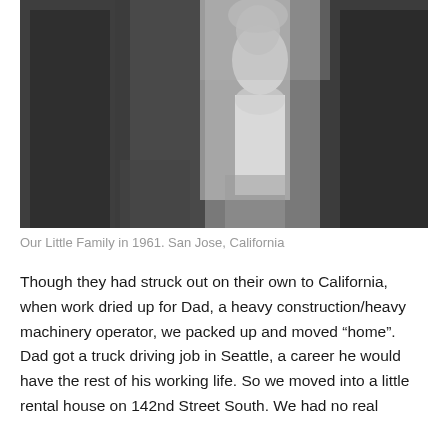[Figure (photo): Black and white photograph of a family group in 1961, San Jose, California. Several adults in dark clothing stand alongside a young girl in a white dress.]
Our Little Family in 1961. San Jose, California
Though they had struck out on their own to California, when work dried up for Dad, a heavy construction/heavy machinery operator, we packed up and moved “home”. Dad got a truck driving job in Seattle, a career he would have the rest of his working life. So we moved into a little rental house on 142nd Street South. We had no real